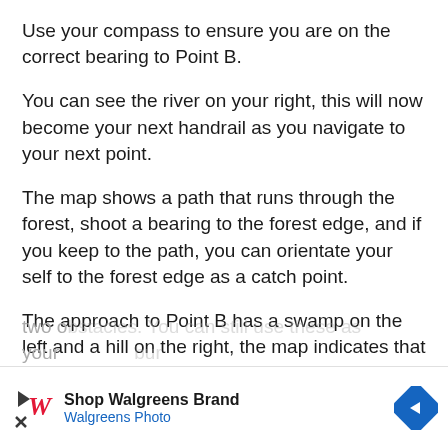Use your compass to ensure you are on the correct bearing to Point B.
You can see the river on your right, this will now become your next handrail as you navigate to your next point.
The map shows a path that runs through the forest, shoot a bearing to the forest edge, and if you keep to the path, you can orientate your self to the forest edge as a catch point.
The approach to Point B has a swamp on the left and a hill on the right, the map indicates that the path weaves its way through these two obstacles. You can still use these as your ... your ...
[Figure (other): Walgreens advertisement banner: 'Shop Walgreens Brand / Walgreens Photo' with Walgreens cursive W logo and blue navigation arrow icon.]